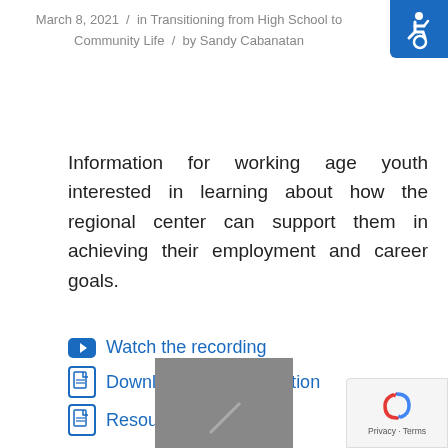March 8, 2021 / in Transitioning from High School to Community Life / by Sandy Cabanatan
[Figure (logo): Blue accessibility/wheelchair icon on blue background square, top right corner]
Information for working age youth interested in learning about how the regional center can support them in achieving their employment and career goals.
Watch the recording
Download the presentation
Resource Guide
[Figure (screenshot): Gray thumbnail placeholder image at bottom center]
[Figure (other): reCAPTCHA Privacy - Terms badge at bottom right]